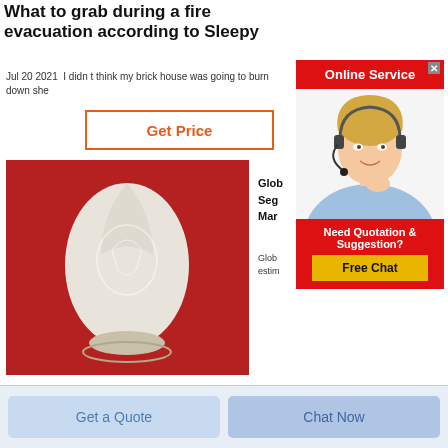What to grab during a fire evacuation according to Sleepy
Jul 20 2021  I didn t think my brick house was going to burn down she
[Figure (other): Orange-bordered button with text 'Get Price' in orange]
[Figure (photo): Product photo: a white bullet/egg shaped powder-filled glass/plastic container displayed on a red background]
[Figure (illustration): Online Service widget with red header, female agent with headset, 'Need Quotation & Suggestion?' and 'Free Chat' yellow button]
Glob
Seg
Mar
Glob
estim
[Figure (other): Two light blue buttons at the bottom: 'Get a Quote' and 'Chat Now']